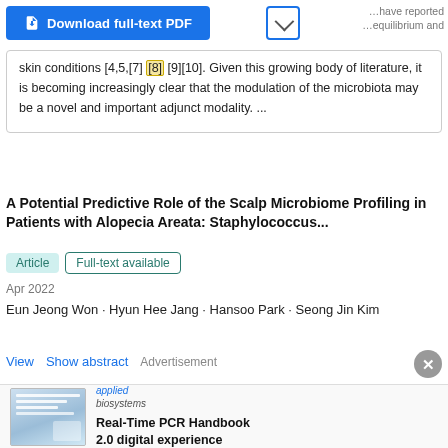skin conditions [4,5,[7] [8] [9][10]. Given this growing body of literature, it is becoming increasingly clear that the modulation of the microbiota may be a novel and important adjunct modality. ...
A Potential Predictive Role of the Scalp Microbiome Profiling in Patients with Alopecia Areata: Staphylococcus...
Article   Full-text available
Apr 2022
Eun Jeong Won · Hyun Hee Jang · Hansoo Park · Seong Jin Kim
View   Show abstract   Advertisement
[Figure (illustration): Advertisement thumbnail showing a document/handbook with a lab instrument image]
Real-Time PCR Handbook 2.0 digital experience